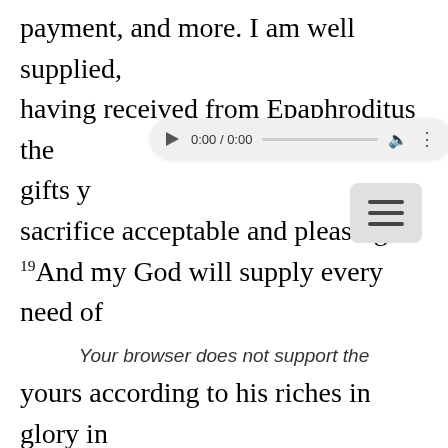payment, and more. I am well supplied, having received from Epaphroditus the gifts y[ou sent], a fragrant aroma, a sacrifice acceptable and pleasing to [God]. 19 And my God will supply every need of yours according to his riches in glory in Christ Jesus. 20 To our God and Father be glory forever and ever. Amen. 21 Greet every saint in Christ Jesus. The brothers who are with me greet you. 22 All the saints greet you, especially those of
[Figure (screenshot): HTML5 audio player overlay showing 0:00 / 0:00 with play button, progress bar, volume icon, and menu dots]
[Figure (screenshot): Hamburger menu icon (three horizontal lines) in a rounded rectangle]
Your browser does not support the audio element.